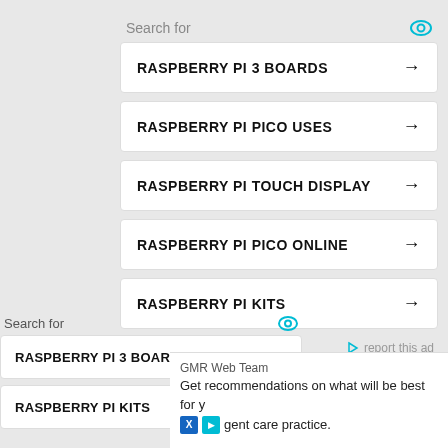Search for
RASPBERRY PI 3 BOARDS →
RASPBERRY PI PICO USES →
RASPBERRY PI TOUCH DISPLAY →
RASPBERRY PI PICO ONLINE →
RASPBERRY PI KITS →
ezoic   report this ad
Search for
RASPBERRY PI 3 BOARDS →
RASPBERRY PI KITS →
GMR Web Team
Get recommendations on what will be best for y
gent care practice.